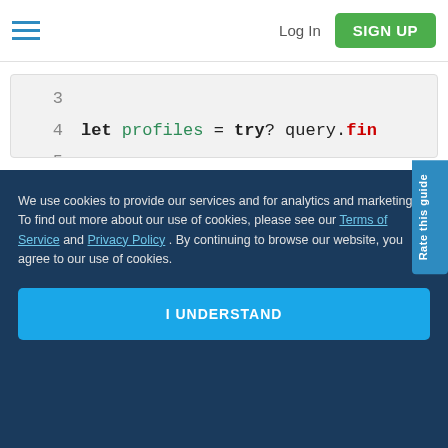Log In | SIGN UP
[Figure (screenshot): Code editor showing Swift/Realm code lines 3-8 with syntax highlighting. Line 4: let profiles = try? query.fin, Line 6: query.find { result in // Exe, Line 7: // Handle the result (of ty, Line 8: }]
We use cookies to provide our services and for analytics and marketing. To find out more about our use of cookies, please see our Terms of Service and Privacy Policy. By continuing to browse our website, you agree to our use of cookies.
I UNDERSTAND